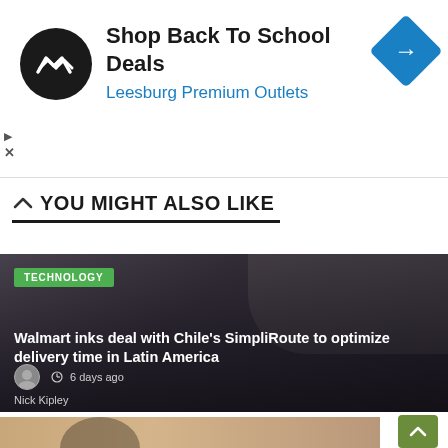[Figure (screenshot): Advertisement banner: black circular logo with double arrow, text 'Shop Back To School Deals' and 'Leesburg Premium Outlets' in blue, blue diamond navigation icon on right]
YOU MIGHT ALSO LIKE
[Figure (photo): Article card with photo of two men in an office/startup setting. Green TECHNOLOGY tag. Headline: 'Walmart inks deal with Chile's SimpliRoute to optimize delivery time in Latin America'. Author: Nick Kipley. Time: 6 days ago.]
[Figure (photo): Bottom partial image strip showing a woman, partially visible]